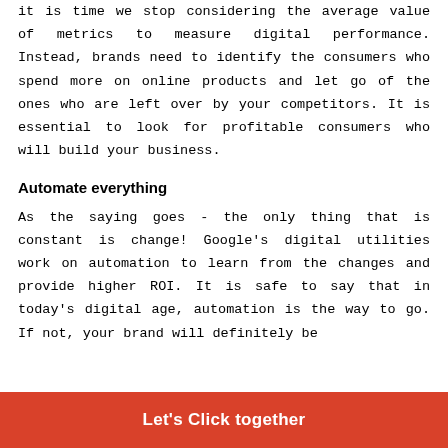it is time we stop considering the average value of metrics to measure digital performance. Instead, brands need to identify the consumers who spend more on online products and let go of the ones who are left over by your competitors. It is essential to look for profitable consumers who will build your business.
Automate everything
As the saying goes - the only thing that is constant is change! Google's digital utilities work on automation to learn from the changes and provide higher ROI. It is safe to say that in today's digital age, automation is the way to go. If not, your brand will definitely be
Let's Click together